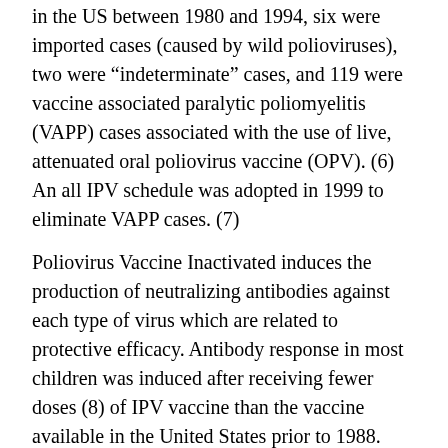in the US between 1980 and 1994, six were imported cases (caused by wild polioviruses), two were "indeterminate" cases, and 119 were vaccine associated paralytic poliomyelitis (VAPP) cases associated with the use of live, attenuated oral poliovirus vaccine (OPV). (6) An all IPV schedule was adopted in 1999 to eliminate VAPP cases. (7)
Poliovirus Vaccine Inactivated induces the production of neutralizing antibodies against each type of virus which are related to protective efficacy. Antibody response in most children was induced after receiving fewer doses (8) of IPV vaccine than the vaccine available in the United States prior to 1988.